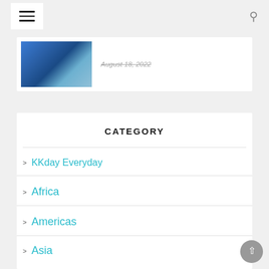Navigation menu and search icon
[Figure (screenshot): Partial blog post card with thumbnail image of people and date text 'August 18, 2022']
CATEGORY
KKday Everyday
Africa
Americas
Asia